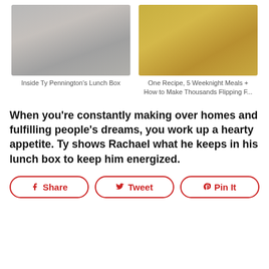[Figure (photo): Photo of a metal lunch box being packed with food items]
Inside Ty Pennington's Lunch Box
[Figure (photo): Photo of a plate of pasta with meat sauce and cheese]
One Recipe, 5 Weeknight Meals + How to Make Thousands Flipping F...
When you're constantly making over homes and fulfilling people's dreams, you work up a hearty appetite. Ty shows Rachael what he keeps in his lunch box to keep him energized.